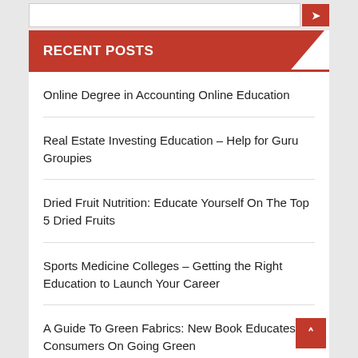RECENT POSTS
Online Degree in Accounting Online Education
Real Estate Investing Education – Help for Guru Groupies
Dried Fruit Nutrition: Educate Yourself On The Top 5 Dried Fruits
Sports Medicine Colleges – Getting the Right Education to Launch Your Career
A Guide To Green Fabrics: New Book Educates Consumers On Going Green